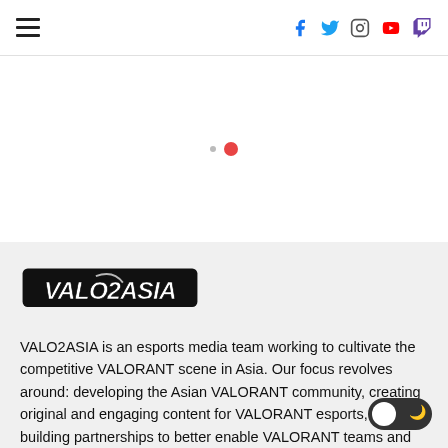Navigation bar with hamburger menu and social icons (Facebook, Twitter, Instagram, YouTube, Twitch)
[Figure (other): Slider pagination dots — one small grey dot and one larger active red dot]
[Figure (logo): VALO2ASIA logo — bold stylized white text with black outline on black background, italic/racing style]
VALO2ASIA is an esports media team working to cultivate the competitive VALORANT scene in Asia. Our focus revolves around: developing the Asian VALORANT community, creating original and engaging content for VALORANT esports, and building partnerships to better enable VALORANT teams and players in Asia.